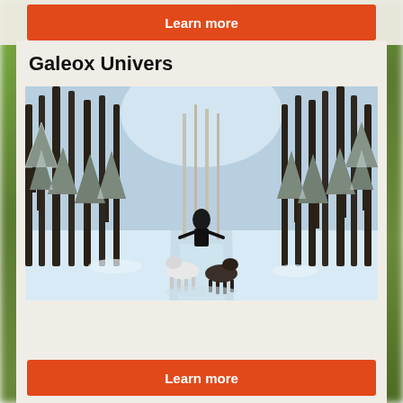[Figure (other): Orange 'Learn more' button at top of page]
Galeox Univers
[Figure (photo): A person on a dog sled being pulled by huskies through a snowy winter forest trail with tall snow-covered trees on both sides]
[Figure (other): Orange 'Learn more' button at bottom of page]